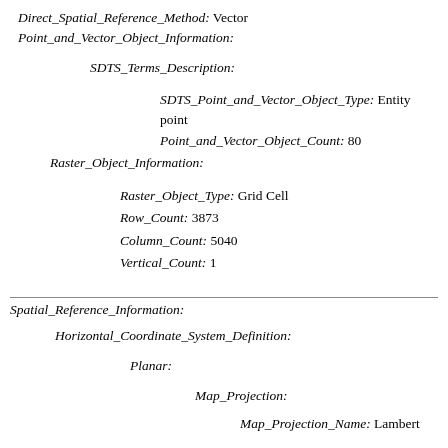Direct_Spatial_Reference_Method: Vector
Point_and_Vector_Object_Information:
SDTS_Terms_Description:
SDTS_Point_and_Vector_Object_Type: Entity point
Point_and_Vector_Object_Count: 80
Raster_Object_Information:
Raster_Object_Type: Grid Cell
Row_Count: 3873
Column_Count: 5040
Vertical_Count: 1
Spatial_Reference_Information:
Horizontal_Coordinate_System_Definition:
Planar:
Map_Projection:
Map_Projection_Name: Lambert